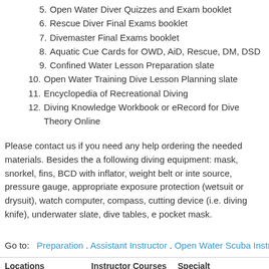5. Open Water Diver Quizzes and Exam booklet
6. Rescue Diver Final Exams booklet
7. Divemaster Final Exams booklet
8. Aquatic Cue Cards for OWD, AiD, Rescue, DM, DSD
9. Confined Water Lesson Preparation slate
10. Open Water Training Dive Lesson Planning slate
11. Encyclopedia of Recreational Diving
12. Diving Knowledge Workbook or eRecord for Dive Theory Online
Please contact us if you need any help ordering the needed materials. Besides the a following diving equipment: mask, snorkel, fins, BCD with inflator, weight belt or inte source, pressure gauge, appropriate exposure protection (wetsuit or drysuit), watch computer, compass, cutting device (i.e. diving knife), underwater slate, dive tables, e pocket mask.
Go to:  Preparation . Assistant Instructor . Open Water Scuba Instructor . IDC . Inst
Locations
Four Seasons, Maldives
Fulidhoo Dive, Maldives
Norik Sub, Slovenia
Blue Planet, Croatia
Instructor Courses
Assistant Instructor
OWSI . IDC . MSDT
IDC Staff Instructor
EFR Instructor
Specialty